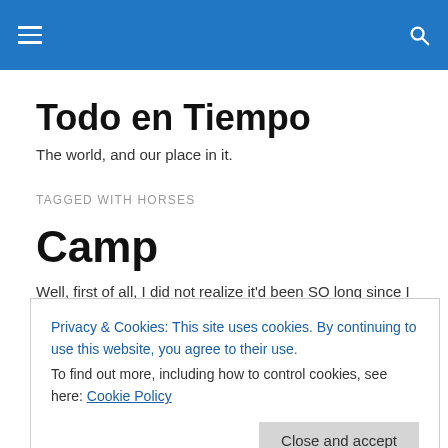Todo en Tiempo — navigation header with hamburger menu and search icon
Todo en Tiempo
The world, and our place in it.
TAGGED WITH HORSES
Camp
Well, first of all, I did not realize it'd been SO long since I
Privacy & Cookies: This site uses cookies. By continuing to use this website, you agree to their use.
To find out more, including how to control cookies, see here: Cookie Policy
Close and accept
from Spain to Pittsburgh, where we (dad & I) stayed at a